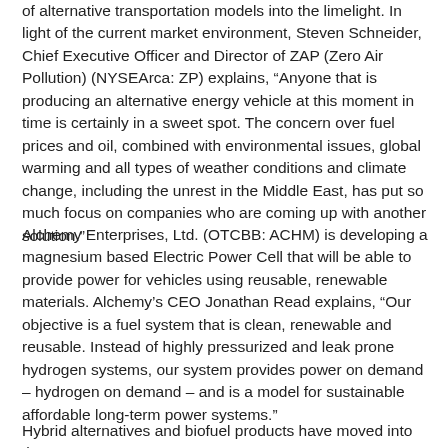of alternative transportation models into the limelight. In light of the current market environment, Steven Schneider, Chief Executive Officer and Director of ZAP (Zero Air Pollution) (NYSEArca: ZP) explains, “Anyone that is producing an alternative energy vehicle at this moment in time is certainly in a sweet spot. The concern over fuel prices and oil, combined with environmental issues, global warming and all types of weather conditions and climate change, including the unrest in the Middle East, has put so much focus on companies who are coming up with another solution.”
Alchemy Enterprises, Ltd. (OTCBB: ACHM) is developing a magnesium based Electric Power Cell that will be able to provide power for vehicles using reusable, renewable materials. Alchemy’s CEO Jonathan Read explains, “Our objective is a fuel system that is clean, renewable and reusable. Instead of highly pressurized and leak prone hydrogen systems, our system provides power on demand – hydrogen on demand – and is a model for sustainable affordable long-term power systems.”
Hybrid alternatives and biofuel products have moved into the